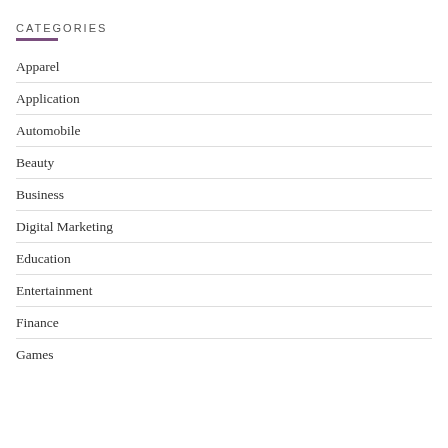CATEGORIES
Apparel
Application
Automobile
Beauty
Business
Digital Marketing
Education
Entertainment
Finance
Games